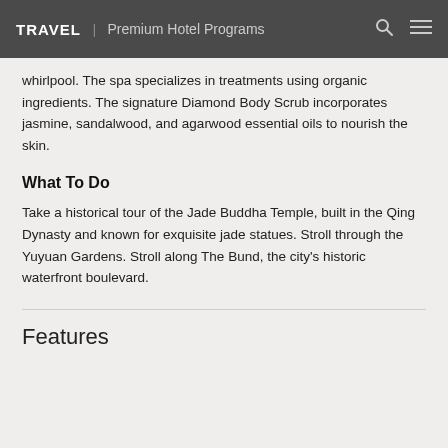TRAVEL | Premium Hotel Programs
whirlpool. The spa specializes in treatments using organic ingredients. The signature Diamond Body Scrub incorporates jasmine, sandalwood, and agarwood essential oils to nourish the skin.
What To Do
Take a historical tour of the Jade Buddha Temple, built in the Qing Dynasty and known for exquisite jade statues. Stroll through the Yuyuan Gardens. Stroll along The Bund, the city's historic waterfront boulevard.
Features